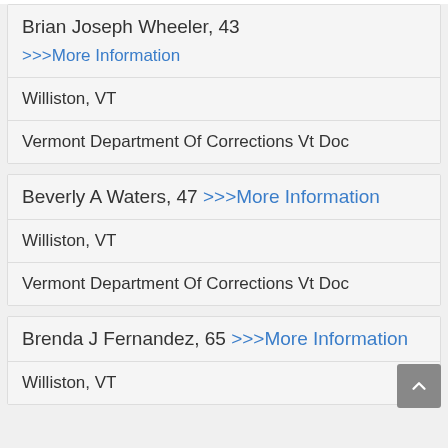Brian Joseph Wheeler, 43
>>>More Information
Williston, VT
Vermont Department Of Corrections Vt Doc
Beverly A Waters, 47 >>>More Information
Williston, VT
Vermont Department Of Corrections Vt Doc
Brenda J Fernandez, 65 >>>More Information
Williston, VT